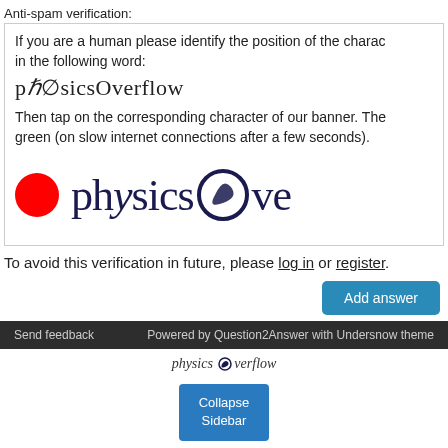Anti-spam verification:
If you are a human please identify the position of the character covered by the symbol in the following word: pℏ∅sicsOverflow Then tap on the corresponding character of our banner. The symbol will turn green (on slow internet connections after a few seconds).
[Figure (logo): PhysicsOverflow banner with red dot on left, large serif text 'physics' followed by stylized circular O and 've' cut off]
To avoid this verification in future, please log in or register.
Add answer
Send feedback    Powered by Question2Answer with Undersnow theme
[Figure (logo): physics Overflow small italic logo]
Collapse Sidebar
user contributions licensed under cc by-sa 3.0 with attribution required
Your rights